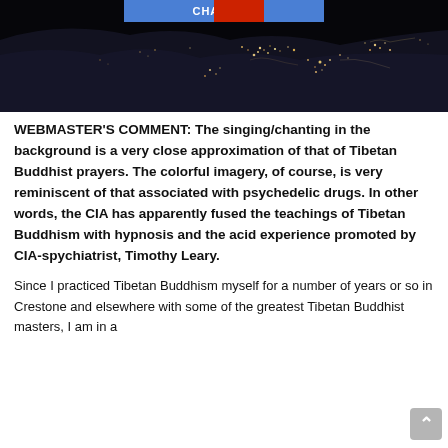[Figure (photo): Night-time satellite view of Earth from space showing city lights, with a navigation bar overlay at the top reading 'CHA...CUS' in white text on blue background with a red overlay block.]
WEBMASTER'S COMMENT: The singing/chanting in the background is a very close approximation of that of Tibetan Buddhist prayers. The colorful imagery, of course, is very reminiscent of that associated with psychedelic drugs. In other words, the CIA has apparently fused the teachings of Tibetan Buddhism with hypnosis and the acid experience promoted by CIA-spychiatrist, Timothy Leary.
Since I practiced Tibetan Buddhism myself for a number of years or so in Crestone and elsewhere with some of the greatest Tibetan Buddhist masters, I am in a